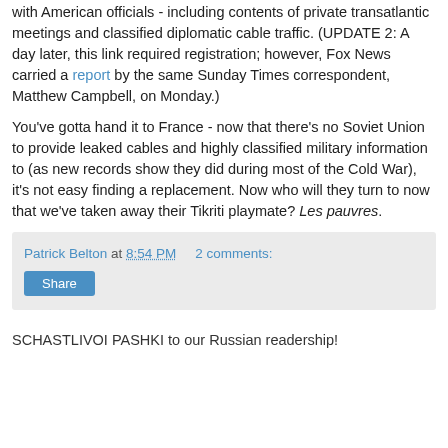with American officials - including contents of private transatlantic meetings and classified diplomatic cable traffic. (UPDATE 2: A day later, this link required registration; however, Fox News carried a report by the same Sunday Times correspondent, Matthew Campbell, on Monday.)
You've gotta hand it to France - now that there's no Soviet Union to provide leaked cables and highly classified military information to (as new records show they did during most of the Cold War), it's not easy finding a replacement. Now who will they turn to now that we've taken away their Tikriti playmate? Les pauvres.
Patrick Belton at 8:54 PM    2 comments:
Share
SCHASTLIVOI PASHKI to our Russian readership!